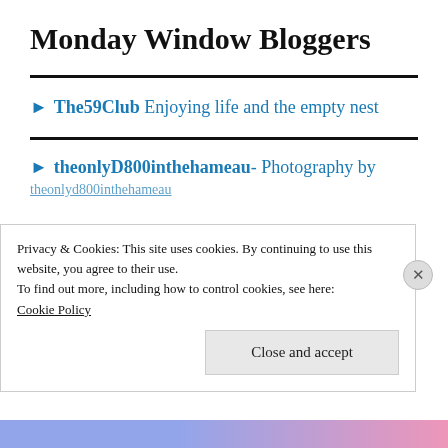Monday Window Bloggers
► The59Club Enjoying life and the empty nest
► theonlyD800inthehameau- Photography by theonlyd800inthehameau
Privacy & Cookies: This site uses cookies. By continuing to use this website, you agree to their use.
To find out more, including how to control cookies, see here:
Cookie Policy
Close and accept